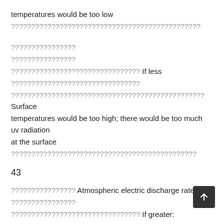temperatures would be too low
???????????????????????????????????????????????
????????????????
????????????????
???????????????????????????????? If less
????????????????????????????????
???????????????????????????????????????????????? Surface temperatures would be too high; there would be too much uv radiation at the surface
??????????????????????????????????????????????
43
???????????????? Atmospheric electric discharge rate
????????????????
???????????????????????????????? If greater:
????????????????????????????????